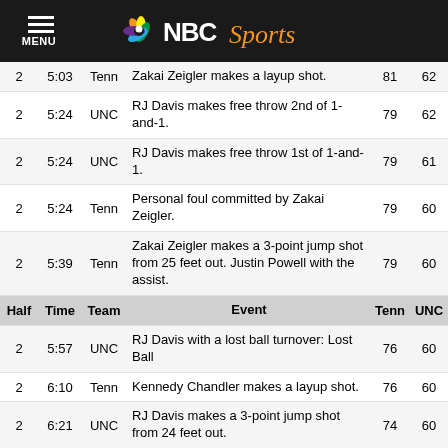NBC Sports
| Half | Time | Team | Event | Tenn | UNC |
| --- | --- | --- | --- | --- | --- |
| 2 | 5:03 | Tenn | Zakai Zeigler makes a layup shot. | 81 | 62 |
| 2 | 5:24 | UNC | RJ Davis makes free throw 2nd of 1-and-1. | 79 | 62 |
| 2 | 5:24 | UNC | RJ Davis makes free throw 1st of 1-and-1. | 79 | 61 |
| 2 | 5:24 | Tenn | Personal foul committed by Zakai Zeigler. | 79 | 60 |
| 2 | 5:39 | Tenn | Zakai Zeigler makes a 3-point jump shot from 25 feet out. Justin Powell with the assist. | 79 | 60 |
| 2 | 5:57 | UNC | RJ Davis with a lost ball turnover: Lost Ball | 76 | 60 |
| 2 | 6:10 | Tenn | Kennedy Chandler makes a layup shot. | 76 | 60 |
| 2 | 6:21 | UNC | RJ Davis makes a 3-point jump shot from 24 feet out. | 74 | 60 |
| 2 | 6:27 |  | Official TV timeout. | 74 | 57 |
| 2 | 6:27 |  | UNC take a 20-second timeout. | 74 | 57 |
| 2 | 6:44 | UNC | Armando Bacot with a defensive rebound. | 74 | 57 |
| 2 | 6:44 | Tenn | Justin Powell misses a 3-point jump shot from | 74 | 57 |